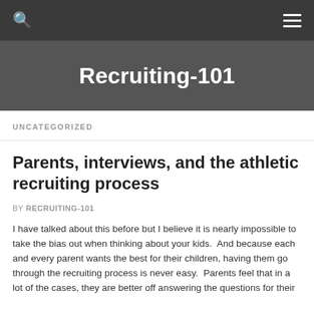Recruiting-101
UNCATEGORIZED
Parents, interviews, and the athletic recruiting process
BY RECRUITING-101
I have talked about this before but I believe it is nearly impossible to take the bias out when thinking about your kids.  And because each and every parent wants the best for their children, having them go through the recruiting process is never easy.  Parents feel that in a lot of the cases, they are better off answering the questions for their